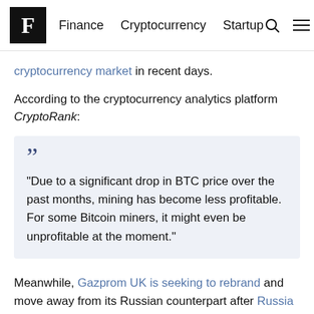F | Finance  Cryptocurrency  Startup
cryptocurrency market in recent days.
According to the cryptocurrency analytics platform CryptoRank:
"Due to a significant drop in BTC price over the past months, mining has become less profitable. For some Bitcoin miners, it might even be unprofitable at the moment."
Meanwhile, Gazprom UK is seeking to rebrand and move away from its Russian counterpart after Russia invaded Ukraine,